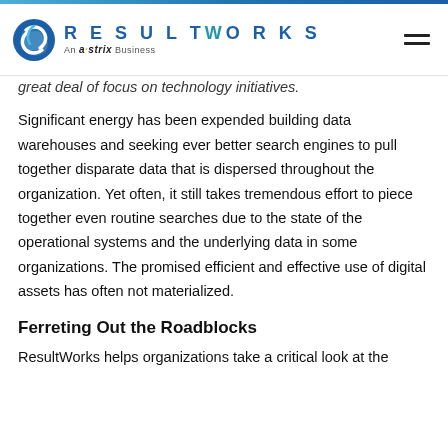RESULTWORKS An astrix Business
great deal of focus on technology initiatives.
Significant energy has been expended building data warehouses and seeking ever better search engines to pull together disparate data that is dispersed throughout the organization. Yet often, it still takes tremendous effort to piece together even routine searches due to the state of the operational systems and the underlying data in some organizations. The promised efficient and effective use of digital assets has often not materialized.
Ferreting Out the Roadblocks
ResultWorks helps organizations take a critical look at the